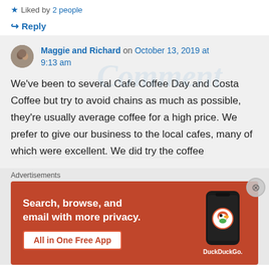★ Liked by 2 people
↪ Reply
Maggie and Richard on October 13, 2019 at 9:13 am
We've been to several Cafe Coffee Day and Costa Coffee but try to avoid chains as much as possible, they're usually average coffee for a high price. We prefer to give our business to the local cafes, many of which were excellent. We did try the coffee
Advertisements
[Figure (screenshot): DuckDuckGo advertisement banner: orange background with white text 'Search, browse, and email with more privacy.' with a white button 'All in One Free App' and a phone showing the DuckDuckGo logo.]